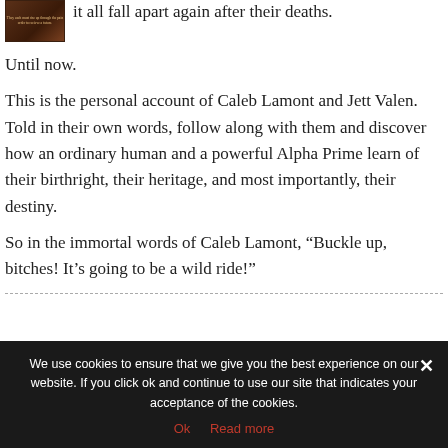[Figure (photo): Small book cover image with dark brown background]
it all fall apart again after their deaths.
Until now.
This is the personal account of Caleb Lamont and Jett Valen. Told in their own words, follow along with them and discover how an ordinary human and a powerful Alpha Prime learn of their birthright, their heritage, and most importantly, their destiny.
So in the immortal words of Caleb Lamont, “Buckle up, bitches! It’s going to be a wild ride!”
We use cookies to ensure that we give you the best experience on our website. If you click ok and continue to use our site that indicates your acceptance of the cookies.
Ok  Read more